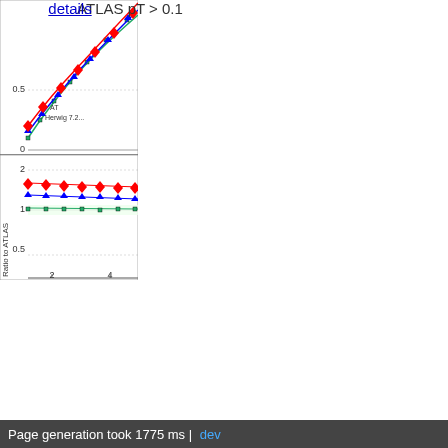[Figure (continuous-plot): Partial view of a two-panel physics plot (cropped, right side visible). Upper panel shows curves rising from ~0.2 to ~1 with colored data series (red diamonds, blue triangles, green squares) with error bands. Lower panel shows ratio to ATLAS with y-axis labeled 'Ratio to ATLAS', values ranging 0.5 to 2, x-axis ticks at 2 and 4. Legend text reads 'ATLAS' and 'Herwig 7.2...']
ATLAS pT > 0.1
details
Page generation took 1775 ms | dev